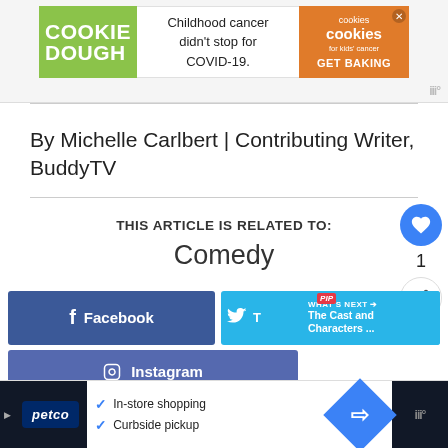[Figure (other): Advertisement banner: Cookie Dough / Childhood cancer didn't stop for COVID-19. / cookies for kids cancer GET BAKING]
By Michelle Carlbert | Contributing Writer, BuddyTV
THIS ARTICLE IS RELATED TO:
Comedy
[Figure (other): Facebook social share button]
[Figure (other): Twitter / What's Next: The Cast and Characters ... button]
[Figure (other): Instagram button (partially visible)]
[Figure (other): Bottom advertisement: Petco - In-store shopping, Curbside pickup]